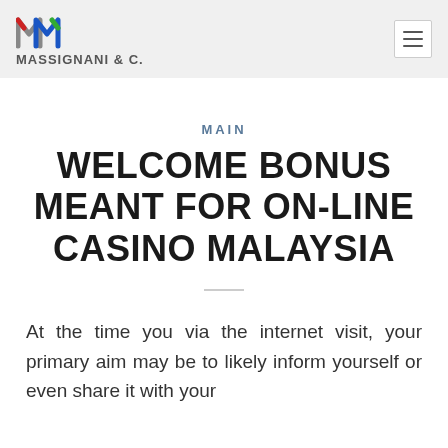MASSIGNANI & C.
MAIN
WELCOME BONUS MEANT FOR ON-LINE CASINO MALAYSIA
At the time you via the internet visit, your primary aim may be to likely inform yourself or even share it with your